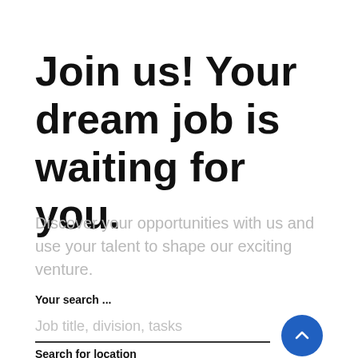Join us! Your dream job is waiting for you.
Discover your opportunities with us and use your talent to shape our exciting venture.
Your search ...
Job title, division, tasks
Search for location